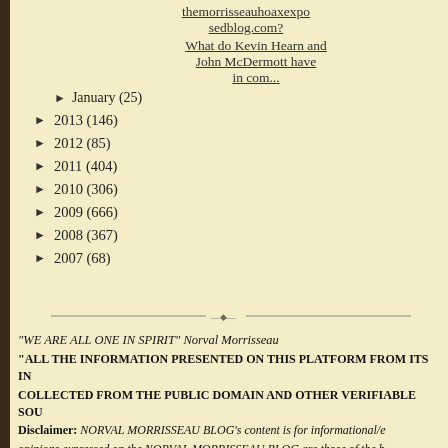themorrisseauhoaxexposed blog.com?
What do Kevin Hearn and John McDermott have in com...
► January (25)
► 2013 (146)
► 2012 (85)
► 2011 (404)
► 2010 (306)
► 2009 (666)
► 2008 (367)
► 2007 (68)
"WE ARE ALL ONE IN SPIRIT" Norval Morrisseau
"ALL THE INFORMATION PRESENTED ON THIS PLATFORM FROM ITS IN COLLECTED FROM THE PUBLIC DOMAIN AND OTHER VERIFIABLE SOU Disclaimer: NORVAL MORRISSEAU BLOG's content is for informational/e opinions expressed on the NORVAL MORRISSEAU BLOG are those of the b per decision of the Supreme Court of Canada (December 22, 2009), journa bloggers, will be protected from lawsuits if they diligently try to verify infor interest (click HERE for more information). * The Canadian Copyright Act it is not an infringement to reproduce someone else's work for criticism and